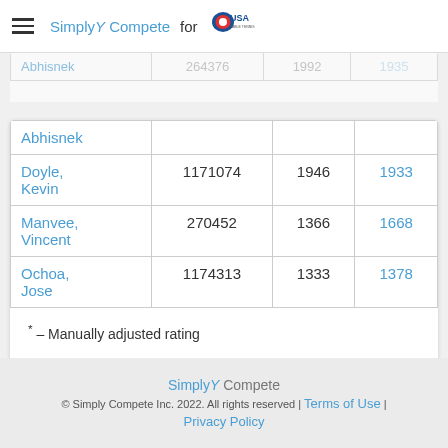SimplyCompete for USA TABLE TENNIS
| Name | ID | Rating | New Rating |
| --- | --- | --- | --- |
| Abhishek |  |  |  |
| Doyle, Kevin | 1171074 | 1946 | 1933 |
| Manvee, Vincent | 270452 | 1366 | 1668 |
| Ochoa, Jose | 1174313 | 1333 | 1378 |
* - Manually adjusted rating
SimplyCompete
© Simply Compete Inc. 2022. All rights reserved | Terms of Use | Privacy Policy